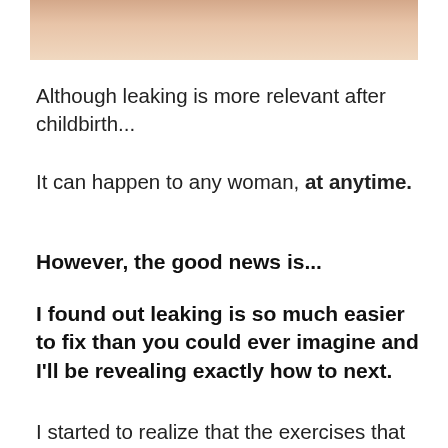[Figure (photo): Partial view of a person's torso/hands, cropped at top of page]
Although leaking is more relevant after childbirth...
It can happen to any woman, at anytime.
However, the good news is...
I found out leaking is so much easier to fix than you could ever imagine and I'll be revealing exactly how to next.
I started to realize that the exercises that